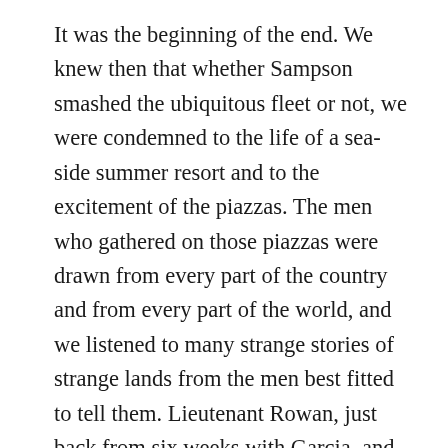It was the beginning of the end. We knew then that whether Sampson smashed the ubiquitous fleet or not, we were condemned to the life of a sea-side summer resort and to the excitement of the piazzas. The men who gathered on those piazzas were drawn from every part of the country and from every part of the world, and we listened to many strange stories of strange lands from the men best fitted to tell them. Lieutenant Rowan, just back from six weeks with Garcia, and bronzed and hidden in an old panama hat, told us of the insurgent camp; Major